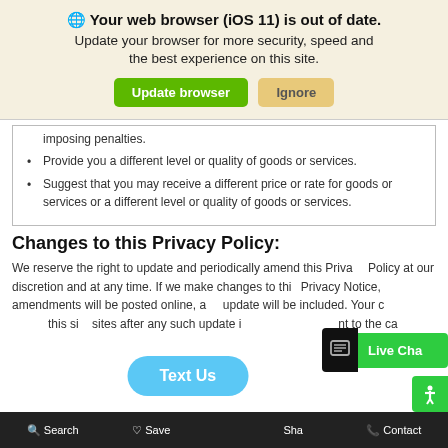[Figure (screenshot): Browser update warning banner with globe icon, bold heading 'Your web browser (iOS 11) is out of date.', subtitle text, and two buttons: green 'Update browser' and tan 'Ignore']
imposing penalties.
Provide you a different level or quality of goods or services.
Suggest that you may receive a different price or rate for goods or services or a different level or quality of goods or services.
Changes to this Privacy Policy:
We reserve the right to update and periodically amend this Privacy Policy at our discretion and at any time. If we make changes to this Privacy Notice, amendments will be posted online, and the date of the update will be included. Your continued use of this site or affiliated sites after any such update is...
[Figure (screenshot): Live Chat button overlay on right side]
[Figure (screenshot): Text Us button overlay at bottom center]
Search  Saved  Share  Contact